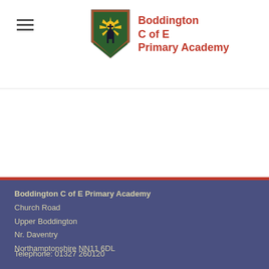Boddington C of E Primary Academy
[Figure (logo): Boddington C of E Primary Academy shield logo with church and sunburst design, alongside red bold text reading Boddington C of E Primary Academy]
Boddington C of E Primary Academy
Church Road
Upper Boddington
Nr. Daventry
Northamptonshire NN11 6DL

Telephone: 01327 260120